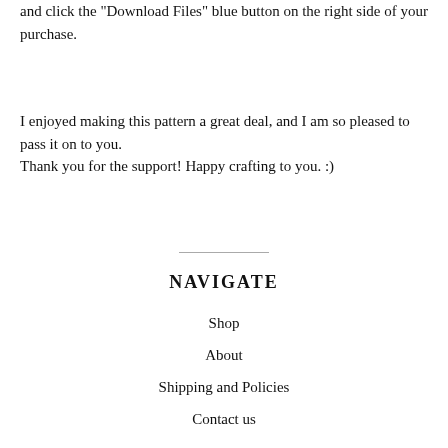and click the "Download Files" blue button on the right side of your purchase.
I enjoyed making this pattern a great deal, and I am so pleased to pass it on to you.
Thank you for the support! Happy crafting to you. :)
NAVIGATE
Shop
About
Shipping and Policies
Contact us